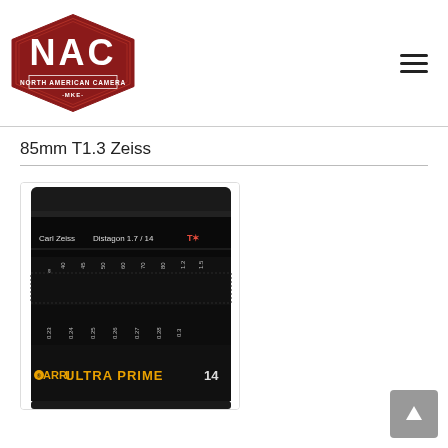[Figure (logo): NAC North American Camera MKE logo — dark red diamond/hexagon shape with white text NAC large and NORTH AMERICAN CAMERA and MKE smaller]
85mm T1.3 Zeiss
[Figure (photo): Close-up photo of a Carl Zeiss Distagon 1.7/14 T* ARRI Ultra Prime cinema lens, black barrel with focus and aperture markings visible]